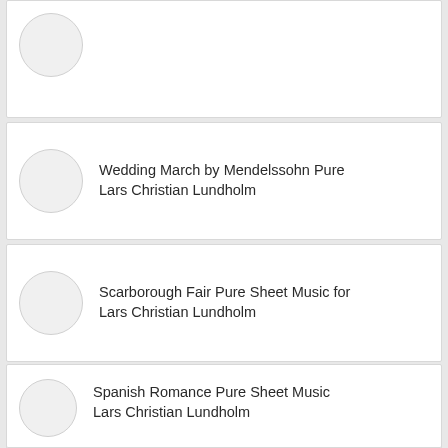Wedding March by Mendelssohn Pure
Lars Christian Lundholm
Scarborough Fair Pure Sheet Music for
Lars Christian Lundholm
Amazing Grace Pure Sheet Music for
Lars Christian Lundholm
Spanish Romance Pure Sheet Music
Lars Christian Lundholm